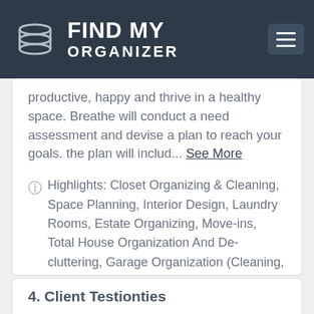FIND MY ORGANIZER
productive, happy and thrive in a healthy space. Breathe will conduct a need assessment and devise a plan to reach your goals. the plan will includ... See More
Highlights: Closet Organizing & Cleaning, Space Planning, Interior Design, Laundry Rooms, Estate Organizing, Move-ins, Total House Organization And De-cluttering, Garage Organization (Cleaning, Storage Solutions), Home Offices, Residential Organizing, Memorabilia Storage, Small Business, Custom Storage And Design, Baby Boomer Downsizing, Personal Shopping, Downsizing, Teens, Relocation, Coordinating Dual Residences, Bathrooms